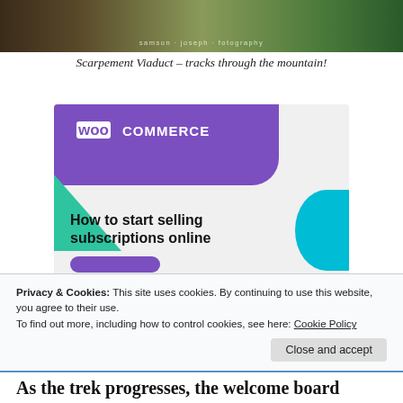[Figure (photo): Landscape/nature photograph with text overlay reading 'samson · joseph · fotography']
Scarpement Viaduct – tracks through the mountain!
[Figure (illustration): WooCommerce advertisement banner with purple branding, green triangle, cyan arc, and text 'How to start selling subscriptions online']
Privacy & Cookies: This site uses cookies. By continuing to use this website, you agree to their use.
To find out more, including how to control cookies, see here: Cookie Policy
Close and accept
As the trek progresses, the welcome board